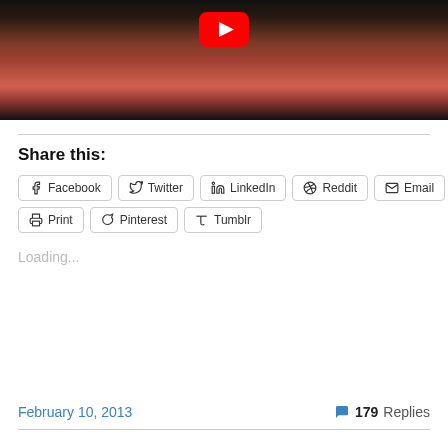[Figure (screenshot): YouTube video thumbnail showing a woman in a pink top with the YouTube play button overlay]
Share this:
Facebook  Twitter  LinkedIn  Reddit  Email  Print  Pinterest  Tumblr
Loading...
February 10, 2013
179 Replies